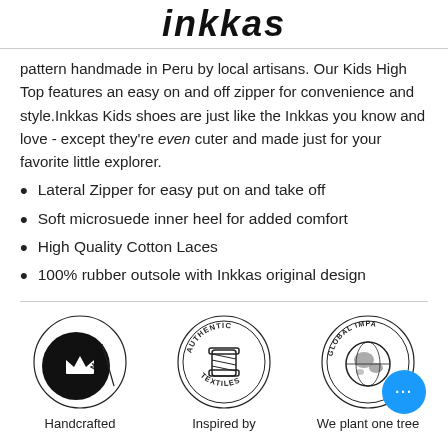inkkas
pattern handmade in Peru by local artisans. Our Kids High Top features an easy on and off zipper for convenience and style.Inkkas Kids shoes are just like the Inkkas you know and love - except they're even cuter and made just for your favorite little explorer.
Lateral Zipper for easy put on and take off
Soft microsuede inner heel for added comfort
High Quality Cotton Laces
100% rubber outsole with Inkkas original design
[Figure (logo): Handcrafted badge - black circle with crown and 'MADE' text]
Handcrafted
[Figure (logo): Authentic Textiles badge - thread spool with circular text]
Inspired by
[Figure (logo): Global Impact badge - globe with circular text]
We plant one tree